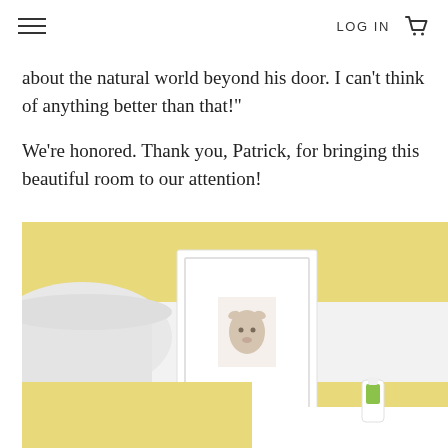LOG IN
about the natural world beyond his door. I can’t think of anything better than that!”
We’re honored. Thank you, Patrick, for bringing this beautiful room to our attention!
[Figure (photo): A nursery room with yellow and white horizontal striped walls. A white framed print of an animal (deer/goat) hangs on the wall. A white lamp shade is partially visible on the left. A white dresser or changing table is partially visible at the bottom right, with a small green and white bottle on top.]